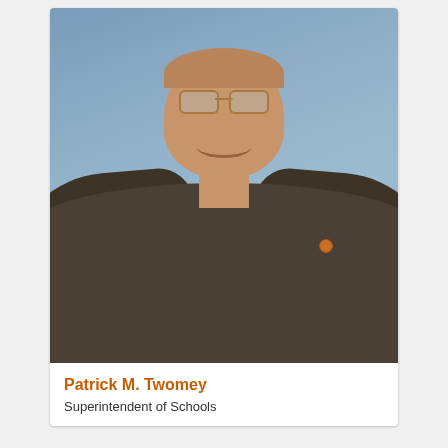[Figure (photo): Professional headshot of Patrick M. Twomey, a middle-aged man wearing glasses, a dark brown/grey plaid suit jacket, a light blue checkered dress shirt, and a patterned tie with gold, green, and blue colors. He is smiling broadly. There is a small orange/brown lapel pin on his jacket. The background is a muted blue-grey studio backdrop.]
Patrick M. Twomey
Superintendent of Schools